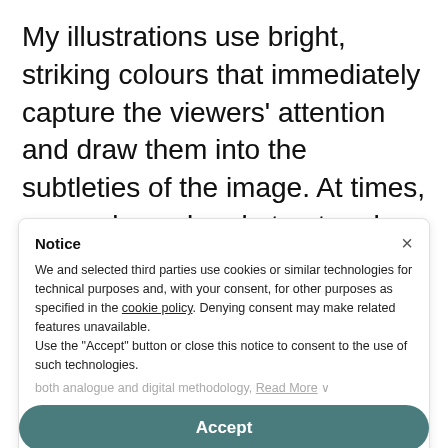My illustrations use bright, striking colours that immediately capture the viewers' attention and draw them into the subtleties of the image. At times, my work can be abstract and subtly alludes to a secondary meaning or narrative through my consistent use of shape. As my portfolio is predominantly made up of singular images, my illustrations work well as book covers, campaign posters, editorial images as well as packaging. I love to incorporate Typography into my work and use text as a physical element for a narrative to exist within. Through my use of both analogue and digital methodology,
Notice
We and selected third parties use cookies or similar technologies for technical purposes and, with your consent, for other purposes as specified in the cookie policy. Denying consent may make related features unavailable.
Use the "Accept" button or close this notice to consent to the use of such technologies.
Read More ∨
Accept
nicola.e.hamlin@gmail.com
www.nicolahamlin.com  Learn more and customize